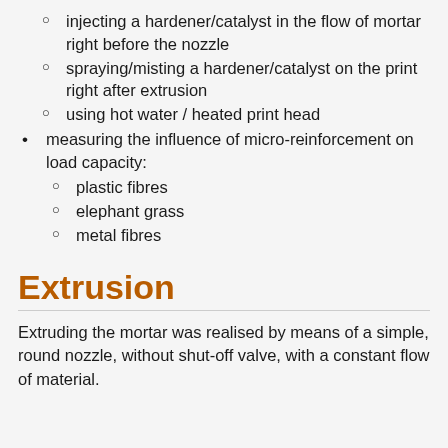injecting a hardener/catalyst in the flow of mortar right before the nozzle
spraying/misting a hardener/catalyst on the print right after extrusion
using hot water / heated print head
measuring the influence of micro-reinforcement on load capacity:
plastic fibres
elephant grass
metal fibres
Extrusion
Extruding the mortar was realised by means of a simple, round nozzle, without shut-off valve, with a constant flow of material.